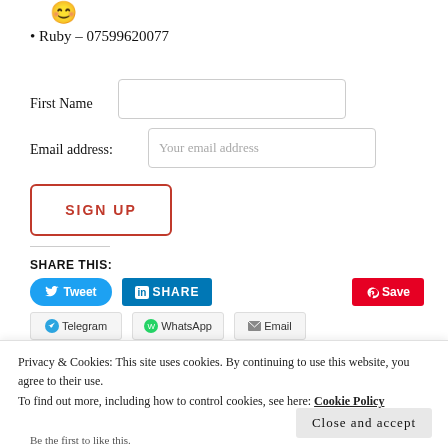[Figure (illustration): Yellow smiley face emoji icon]
Ruby – 07599620077
First Name [input field]
Email address: Your email address [input field]
[Figure (other): SIGN UP button with red border]
SHARE THIS:
[Figure (other): Tweet button (blue), LinkedIn SHARE button (blue), Pinterest Save button (red), Telegram, WhatsApp, Email buttons]
Privacy & Cookies: This site uses cookies. By continuing to use this website, you agree to their use.
To find out more, including how to control cookies, see here: Cookie Policy
Close and accept
Be the first to like this.